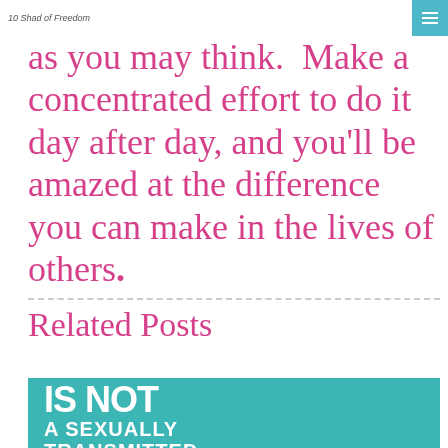10 Shad of Freedom
as you may think.  Make a concentrated effort to do it day after day, and you'll be amazed at the difference you can make in the lives of others.
Related Posts
[Figure (illustration): Teal/turquoise banner image with bold white text reading 'IS NOT A SEXUALLY TRANSMITTED' on a teal background with a darker teal right panel]